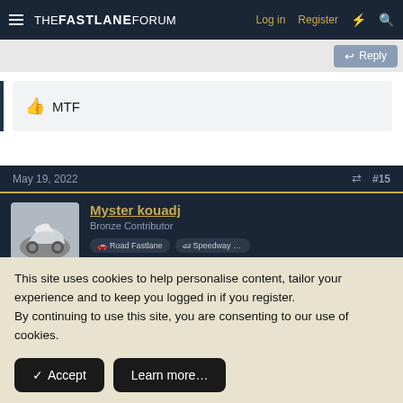THE FASTLANE FORUM  Log in  Register
Reply
MTF
May 19, 2022  #15
Myster kouadj
Bronze Contributor
This site uses cookies to help personalise content, tailor your experience and to keep you logged in if you register.
By continuing to use this site, you are consenting to our use of cookies.
Accept  Learn more...